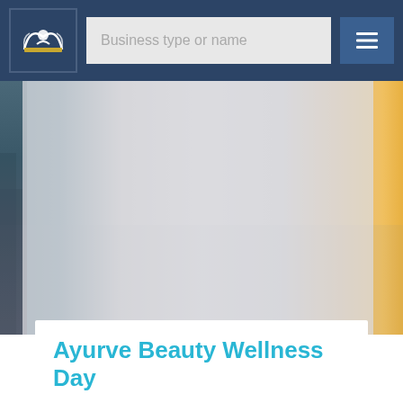[Figure (screenshot): Website navigation bar with logo, search field placeholder 'Business type or name', and hamburger menu icon on dark blue background]
[Figure (photo): Hero background image showing a scenic outdoor landscape with muted blue-gray tones on the left and warm golden sunset tones on the right, partially obscured by a light gray overlay]
Ayurve Beauty Wellness Day